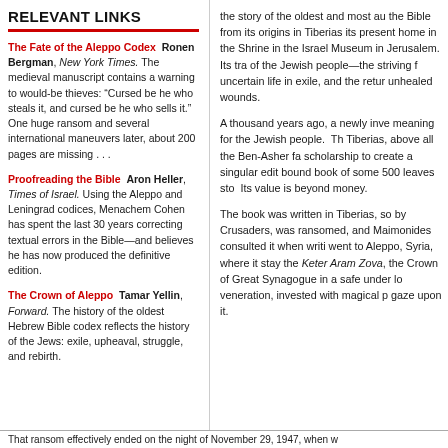RELEVANT LINKS
The Fate of the Aleppo Codex  Ronen Bergman, New York Times. The medieval manuscript contains a warning to would-be thieves: “Cursed be he who steals it, and cursed be he who sells it.” One huge ransom and several international maneuvers later, about 200 pages are missing . . .
Proofreading the Bible  Aron Heller, Times of Israel. Using the Aleppo and Leningrad codices, Menachem Cohen has spent the last 30 years correcting textual errors in the Bible—and believes he has now produced the definitive edition.
The Crown of Aleppo  Tamar Yellin, Forward. The history of the oldest Hebrew Bible codex reflects the history of the Jews: exile, upheaval, struggle, and rebirth.
the story of the oldest and most au the Bible from its origins in Tiberias its present home in the Shrine in the Israel Museum in Jerusalem.  Its tra of the Jewish people—the striving f uncertain life in exile, and the retur unhealed wounds.
A thousand years ago, a newly inve meaning for the Jewish people.  Th Tiberias, above all the Ben-Asher fa scholarship to create a singular edit bound book of some 500 leaves sto Its value is beyond money.
The book was written in Tiberias, so by Crusaders, was ransomed, and Maimonides consulted it when writi went to Aleppo, Syria, where it stay the Keter Aram Zova, the Crown of Great Synagogue in a safe under lo veneration, invested with magical p gaze upon it.
That ransom effectively ended on the night of November 29, 1947, when w